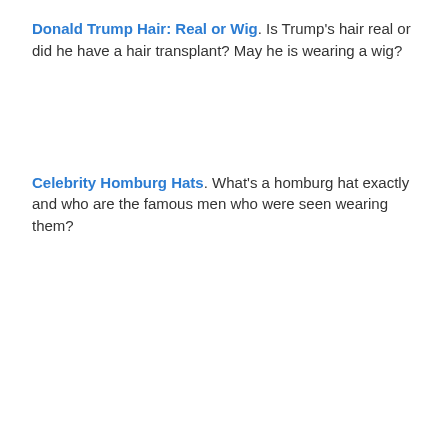Donald Trump Hair: Real or Wig. Is Trump's hair real or did he have a hair transplant? May he is wearing a wig?
Celebrity Homburg Hats. What's a homburg hat exactly and who are the famous men who were seen wearing them?